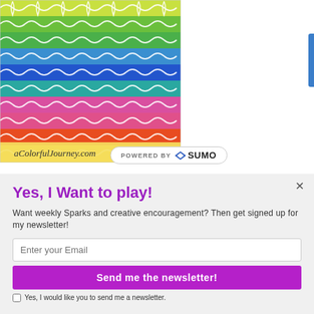[Figure (illustration): Colorful rainbow geometric diamond/wave pattern artwork with text 'aColorfulJourney.com' at the bottom]
POWERED BY 👑 SUMO
Yes, I Want to play!
Want weekly Sparks and creative encouragement? Then get signed up for my newsletter!
Enter your Email
Send me the newsletter!
Yes, I would like you to send me a newsletter.